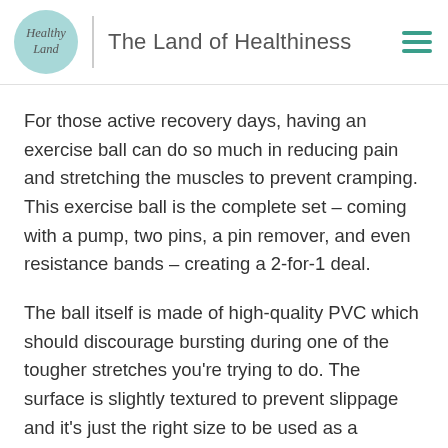Healthy Land | The Land of Healthiness
For those active recovery days, having an exercise ball can do so much in reducing pain and stretching the muscles to prevent cramping. This exercise ball is the complete set – coming with a pump, two pins, a pin remover, and even resistance bands – creating a 2-for-1 deal.
The ball itself is made of high-quality PVC which should discourage bursting during one of the tougher stretches you’re trying to do. The surface is slightly textured to prevent slippage and it’s just the right size to be used as a pregnancy ball.